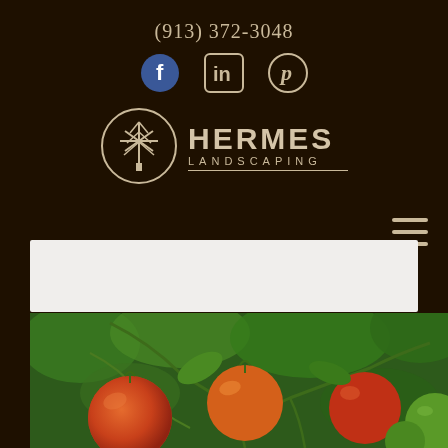(913) 372-3048
[Figure (logo): Hermes Landscaping logo with tree icon in circle, text HERMES LANDSCAPING]
[Figure (photo): Close-up photo of red and orange cherry tomatoes on the vine with green stems and unripe green tomatoes]